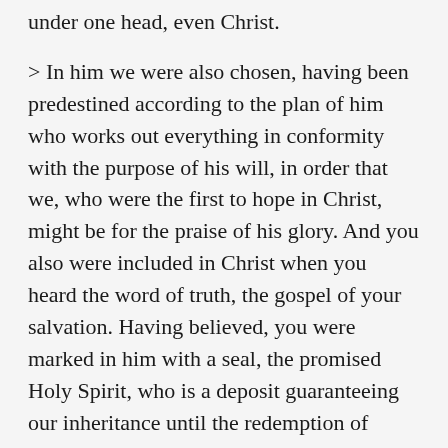under one head, even Christ.
> In him we were also chosen, having been predestined according to the plan of him who works out everything in conformity with the purpose of his will, in order that we, who were the first to hope in Christ, might be for the praise of his glory. And you also were included in Christ when you heard the word of truth, the gospel of your salvation. Having believed, you were marked in him with a seal, the promised Holy Spirit, who is a deposit guaranteeing our inheritance until the redemption of those who are God's possession—to the praise of his glory.
Put that in your Thought Pot and taste it! No extra seasoning or thickening needed. It is mmm, mmm good to the last drop and then